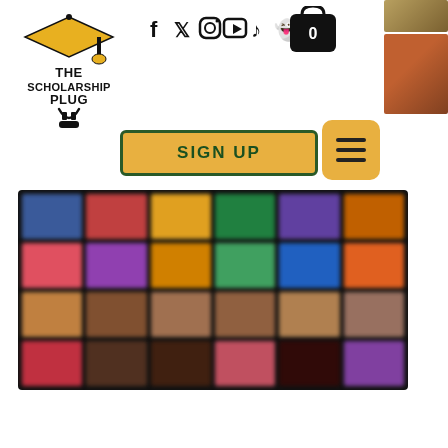[Figure (logo): The Scholarship Plug logo — graduation cap on top, bold serif text reading THE SCHOLARSHIP PLUG, with decorative plug cord underneath]
[Figure (infographic): Social media icons row: Facebook, Twitter, Instagram, YouTube, TikTok, Snapchat]
[Figure (infographic): Shopping cart icon with badge showing 0]
[Figure (screenshot): Two small thumbnail images in top right corner]
SIGN UP
[Figure (infographic): Hamburger menu button (three horizontal lines) in gold/yellow square]
[Figure (photo): Blurred bookshelf image showing colorful books arranged on shelves, multiple rows visible]